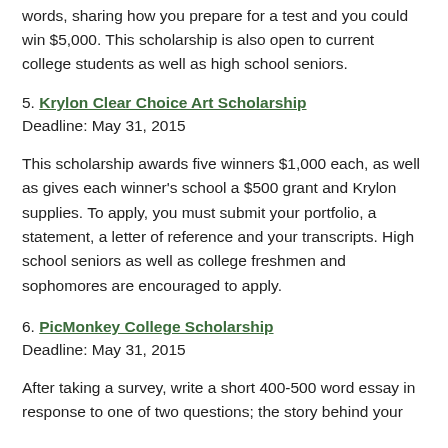words, sharing how you prepare for a test and you could win $5,000. This scholarship is also open to current college students as well as high school seniors.
5. Krylon Clear Choice Art Scholarship
Deadline: May 31, 2015
This scholarship awards five winners $1,000 each, as well as gives each winner's school a $500 grant and Krylon supplies. To apply, you must submit your portfolio, a statement, a letter of reference and your transcripts. High school seniors as well as college freshmen and sophomores are encouraged to apply.
6. PicMonkey College Scholarship
Deadline: May 31, 2015
After taking a survey, write a short 400-500 word essay in response to one of two questions; the story behind your favourite photo or name and describe a photo of yours